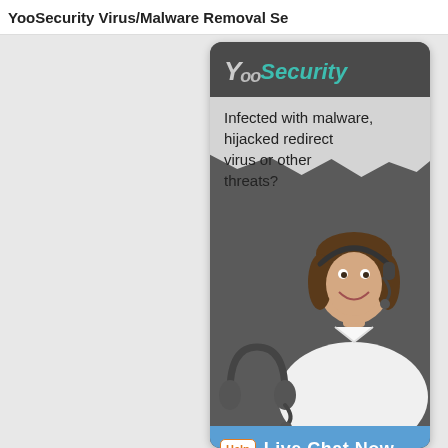YooSecurity Virus/Malware Removal Se
[Figure (infographic): YooSecurity advertisement banner with dark gray rounded card. Shows YooSecurity logo at top (Yoo in gray italic, Security in teal italic), torn paper effect revealing text 'Infected with malware, hijacked redirect virus or other threats?', a female customer support agent with headset, a headset icon at bottom left, and a Live Chat Now button with Help badge at the bottom in blue.]